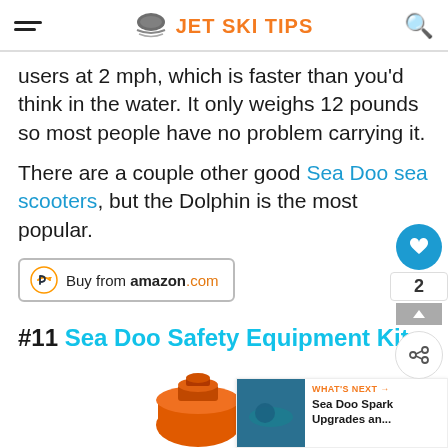JET SKI TIPS
users at 2 mph, which is faster than you'd think in the water. It only weighs 12 pounds so most people have no problem carrying it.
There are a couple other good Sea Doo sea scooters, but the Dolphin is the most popular.
[Figure (other): Buy from amazon.com button]
#11 Sea Doo Safety Equipment Kit
[Figure (photo): Orange safety kit container at bottom of page]
[Figure (other): What's Next panel: Sea Doo Spark Upgrades an...]